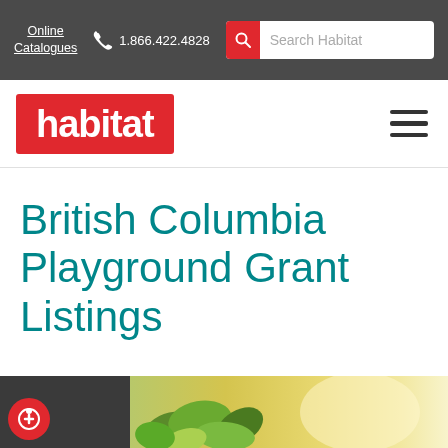Online Catalogues | 1.866.422.4828 | Search Habitat
[Figure (logo): Habitat logo — white text 'habitat' on red background rectangle]
British Columbia Playground Grant Listings
[Figure (photo): Green leaves on a bright outdoor background, bottom strip of page]